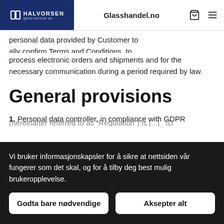Halvorsen Glasshandel.no
personal data provided by Customer to ally confirm Terms and Conditions, to process electronic orders and shipments and for the necessary communication during a period required by law.
General provisions
1. Personal data controller, in compliance with GDPR (hereinafter referred to as Regulation) is [...]
Vi bruker informasjonskapsler for å sikre at nettsiden vår fungerer som det skal, og for å tilby deg best mulig brukeropplevelse.
Godta bare nødvendige | Aksepter alt